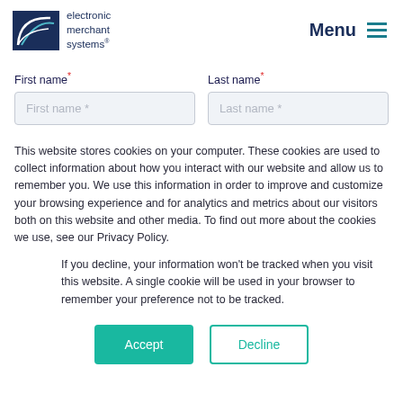electronic merchant systems — Menu
First name* Last name*
This website stores cookies on your computer. These cookies are used to collect information about how you interact with our website and allow us to remember you. We use this information in order to improve and customize your browsing experience and for analytics and metrics about our visitors both on this website and other media. To find out more about the cookies we use, see our Privacy Policy.
If you decline, your information won't be tracked when you visit this website. A single cookie will be used in your browser to remember your preference not to be tracked.
Accept  Decline